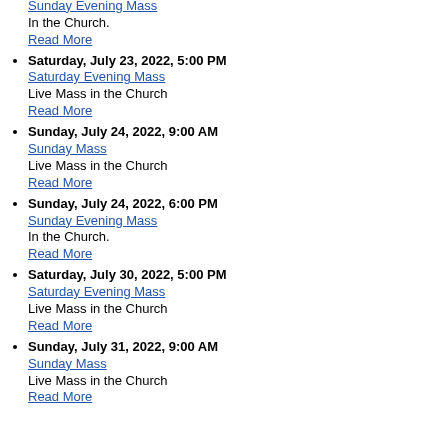Read More (top)
Sunday, July 17, 2022, 6:00 PM
Sunday Evening Mass
In the Church.
Read More
Saturday, July 23, 2022, 5:00 PM
Saturday Evening Mass
Live Mass in the Church
Read More
Sunday, July 24, 2022, 9:00 AM
Sunday Mass
Live Mass in the Church
Read More
Sunday, July 24, 2022, 6:00 PM
Sunday Evening Mass
In the Church.
Read More
Saturday, July 30, 2022, 5:00 PM
Saturday Evening Mass
Live Mass in the Church
Read More
Sunday, July 31, 2022, 9:00 AM
Sunday Mass
Live Mass in the Church
Read More